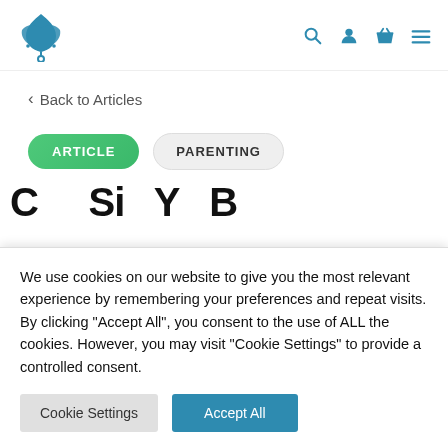[Figure (logo): Blue leaf/plant logo with female symbol below, website navigation header with search, user, cart, and menu icons]
< Back to Articles
ARTICLE   PARENTING
We use cookies on our website to give you the most relevant experience by remembering your preferences and repeat visits. By clicking "Accept All", you consent to the use of ALL the cookies. However, you may visit "Cookie Settings" to provide a controlled consent.
Cookie Settings   Accept All